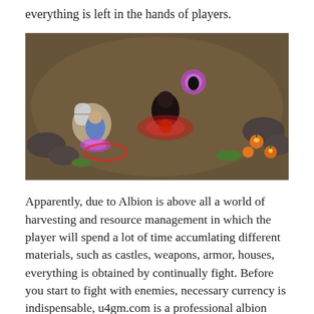everything is left in the hands of players.
[Figure (screenshot): Top-down view of a fantasy MMORPG game scene (Albion Online) showing characters engaged in combat. One character on the left with white/grey shield equipment, a character in center with dark robes and red spell effects on the ground, and glowing pumpkins on the right side. Purple circular spell effects visible around characters. Rocky terrain with plants in the background.]
Apparently, due to Albion is above all a world of harvesting and resource management in which the player will spend a lot of time accumlating different materials, such as castles, weapons, armor, houses, everything is obtained by continually fight. Before you start to fight with enemies, necessary currency is indispensable, u4gm.com is a professional albion gold supplier.